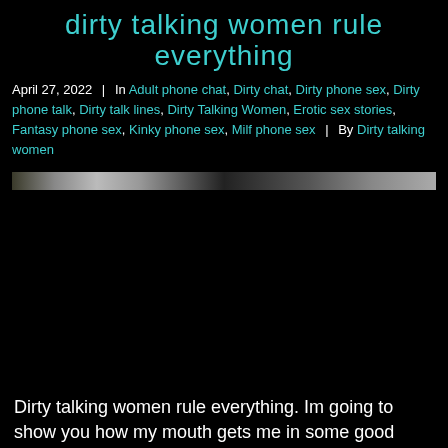dirty talking women rule everything
April 27, 2022 | In Adult phone chat, Dirty chat, Dirty phone sex, Dirty phone talk, Dirty talk lines, Dirty Talking Women, Erotic sex stories, Fantasy phone sex, Kinky phone sex, Milf phone sex | By Dirty talking women
[Figure (photo): A narrow horizontal image strip showing partial figures, mostly obscured by dark background.]
Dirty talking women rule everything. Im going to show you how my mouth gets me in some good trouble. When my mom started